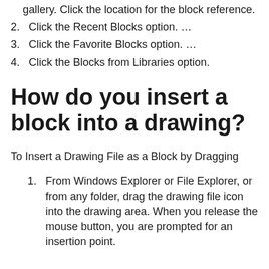gallery. Click the location for the block reference.
2. Click the Recent Blocks option. …
3. Click the Favorite Blocks option. …
4. Click the Blocks from Libraries option.
How do you insert a block into a drawing?
To Insert a Drawing File as a Block by Dragging
1. From Windows Explorer or File Explorer, or from any folder, drag the drawing file icon into the drawing area. When you release the mouse button, you are prompted for an insertion point.